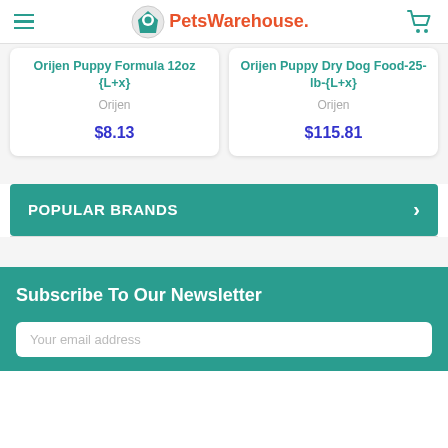Pets Warehouse
Orijen Puppy Formula 12oz {L+x}
Orijen
$8.13
Orijen Puppy Dry Dog Food-25-lb-{L+x}
Orijen
$115.81
POPULAR BRANDS
Subscribe To Our Newsletter
Your email address